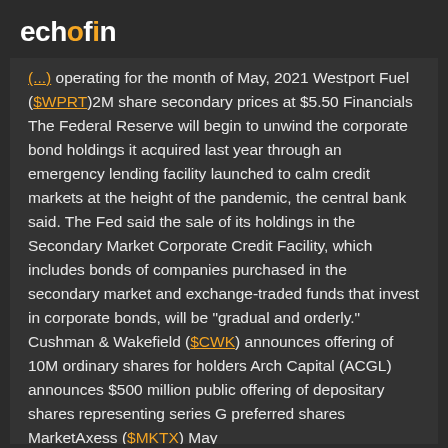echofin
(...) operating for the month of May, 2021 Westport Fuel ($WPRT)2M share secondary prices at $5.50 Financials The Federal Reserve will begin to unwind the corporate bond holdings it acquired last year through an emergency lending facility launched to calm credit markets at the height of the pandemic, the central bank said. The Fed said the sale of its holdings in the Secondary Market Corporate Credit Facility, which includes bonds of companies purchased in the secondary market and exchange-traded funds that invest in corporate bonds, will be "gradual and orderly." Cushman & Wakefield ($CWK) announces offering of 10M ordinary shares for holders Arch Capital (ACGL) announces $500 million public offering of depositary shares representing series G preferred shares MarketAxess ($MKTX) May